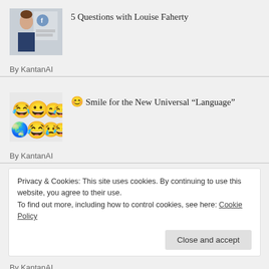[Figure (photo): Thumbnail photo of Louise Faherty standing in front of a banner with a logo]
5 Questions with Louise Faherty
By KantanAI
[Figure (photo): Thumbnail image of various emoji smiley faces]
😊 Smile for the New Universal “Language”
By KantanAI
Privacy & Cookies: This site uses cookies. By continuing to use this website, you agree to their use.
To find out more, including how to control cookies, see here: Cookie Policy
Close and accept
By KantanAI